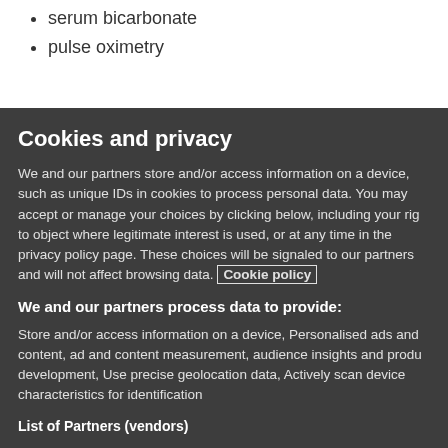serum bicarbonate
pulse oximetry
Cookies and privacy
We and our partners store and/or access information on a device, such as unique IDs in cookies to process personal data. You may accept or manage your choices by clicking below, including your rig to object where legitimate interest is used, or at any time in the privacy policy page. These choices will be signaled to our partners and will not affect browsing data. Cookie policy
We and our partners process data to provide:
Store and/or access information on a device, Personalised ads and content, ad and content measurement, audience insights and produ development, Use precise geolocation data, Actively scan device characteristics for identification
List of Partners (vendors)
I Accept